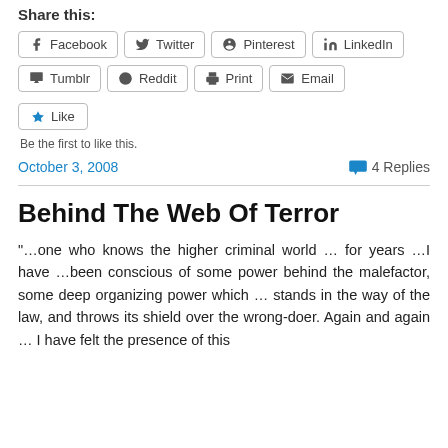Share this:
Facebook  Twitter  Pinterest  LinkedIn  Tumblr  Reddit  Print  Email
Like
Be the first to like this.
October 3, 2008   4 Replies
Behind The Web Of Terror
“…one who knows the higher criminal world … for years …I have …been conscious of some power behind the malefactor, some deep organizing power which … stands in the way of the law, and throws its shield over the wrong-doer. Again and again … I have felt the presence of this